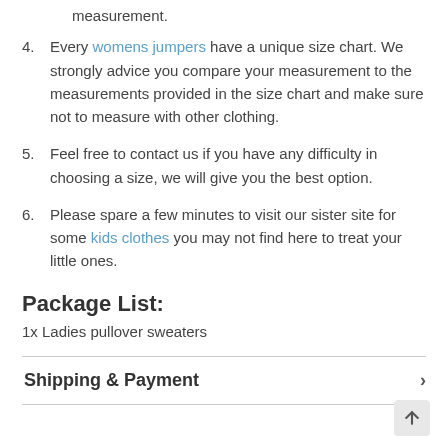4. Every womens jumpers have a unique size chart. We strongly advice you compare your measurement to the measurements provided in the size chart and make sure not to measure with other clothing.
5. Feel free to contact us if you have any difficulty in choosing a size, we will give you the best option.
6. Please spare a few minutes to visit our sister site for some kids clothes you may not find here to treat your little ones.
Package List:
1x Ladies pullover sweaters
Shipping & Payment